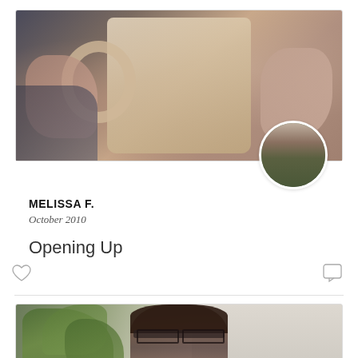[Figure (photo): Close-up photo of two hands holding a ceramic mug, showing decorated nails with various nail art patterns including stripes and geometric designs. The image is tightly cropped focusing on the hands and mug.]
MELISSA F.
October 2010
Opening Up
[Figure (photo): Partial photo of a smiling woman with glasses and dark hair, with a green leafy plant visible on the left side of the frame.]